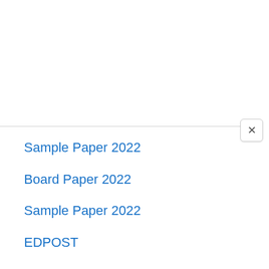Sample Paper 2022
Board Paper 2022
Sample Paper 2022
EDPOST
192.168.0.1
Scholarship- Fellowship
JNVST Result 2022
LI9